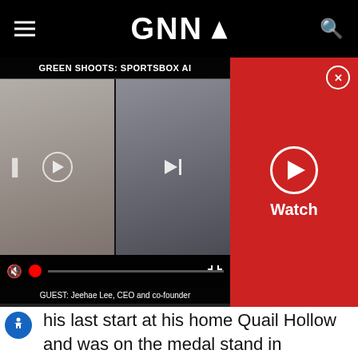GNN (Golf News Network)
[Figure (screenshot): Video player showing 'GREEN SHOOTS: SPORTSBOX AI' with two video thumbnails, media controls, and guest label 'GUEST: Jeehae Lee, CEO and co-founder']
his last start at his home Quail Hollow and was on the medal stand in Memphis last year. Good enough for us.
7. Brian Harman -- The lefty is in the U.S. Open and has been playing good golf of late, including two top-10 finishes in his last four starts. He was T-6 here last year after two MCs.